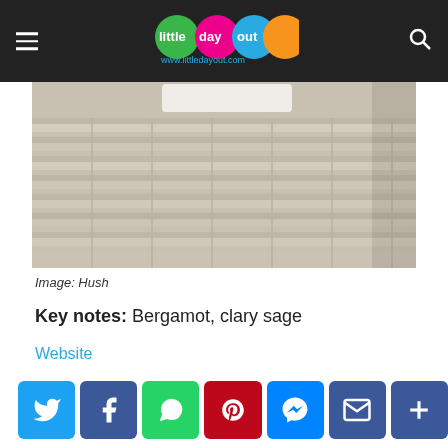little day out — www.littledayout.com
[Figure (photo): Close-up photo of a wicker/rattan basket weave texture in cream/beige tones, with a white rectangular soap or candle visible at the top]
Image: Hush
Key notes: Bergamot, clary sage
Website
Durance Cashmere Dream Candle, $69.90
[Figure (infographic): Social sharing buttons row: Twitter, Facebook, WhatsApp, Pinterest, Messenger, Email, More]